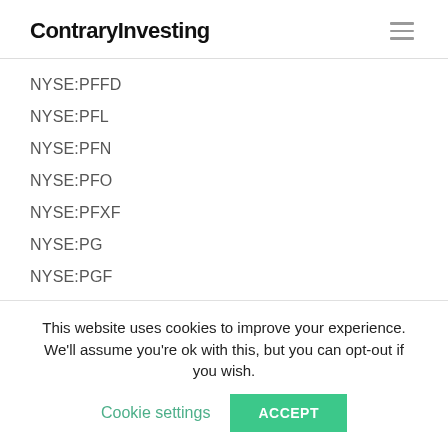ContraryInvesting
NYSE:PFFD
NYSE:PFL
NYSE:PFN
NYSE:PFO
NYSE:PFXF
NYSE:PG
NYSE:PGF
NYSE:PGP
This website uses cookies to improve your experience. We'll assume you're ok with this, but you can opt-out if you wish. Cookie settings ACCEPT